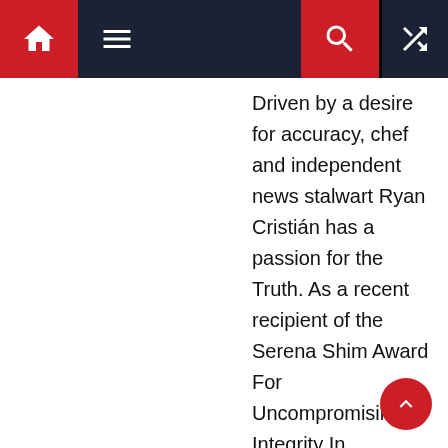Navigation bar with home, menu, search, and random icons
Driven by a desire for accuracy, chef and independent news stalwart Ryan Cristián has a passion for the Truth. As a recent recipient of the Serena Shim Award For Uncompromising Integrity In Journalism, he understands that Americans want their news to be transparent, devoid of the opulence frothed out by today's corporate media. A cultured and insightful man with a worldly sense, Ryan's unjaded approach offers common sense to the individual racked by the ambiguous news cycle – a vicious and manipulative merry-go-round that keeps trenchant minds at a manageable distance from the truth. Avid writer & editor by day, Truth seeker by night, Ryan's reality defines